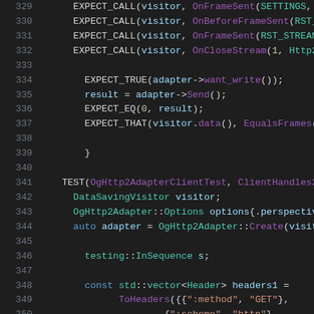[Figure (screenshot): Source code screenshot showing C++ test code lines 329-350 with syntax highlighting on dark background. Functions shown include EXPECT_CALL, EXPECT_TRUE, EXPECT_EQ, EXPECT_THAT, TEST, DataSavingVisitor, OgHttp2Adapter::Options, OgHttp2Adapter::Create, testing::InSequence, std::vector<Header>, ToHeaders.]